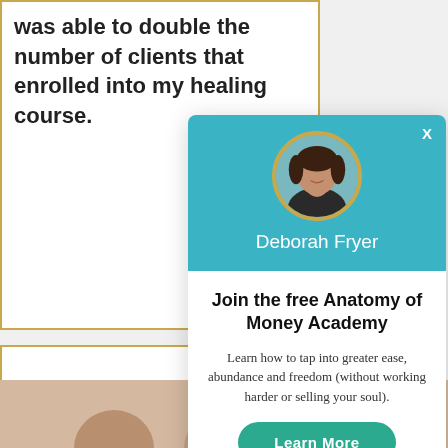was able to double the number of clients that enrolled into my healing course.
[Figure (screenshot): Modal popup for Deborah Fryer's free Anatomy of Money Academy with teal header, circular profile photo, name, title, description, and Learn More button]
Join the free Anatomy of Money Academy
Learn how to tap into greater ease, abundance and freedom (without working harder or selling your soul).
Learn More